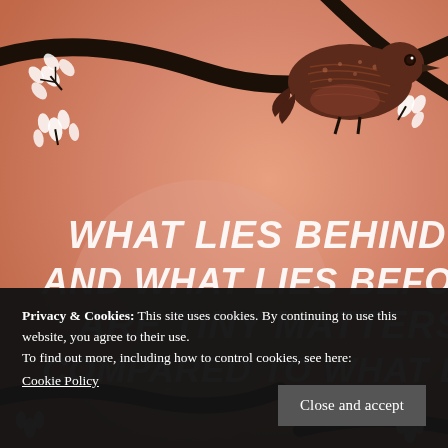[Figure (illustration): Illustrated book cover or artwork with a salmon/peach background showing a brown bird perched on a black branch with white leaf sprigs. Large white handwritten-style text reads: 'WHAT LIES BEHIND US AND WHAT LIES BEFORE US ARE TINY MATTERS COMPARED TO WHAT LIES']
Privacy & Cookies: This site uses cookies. By continuing to use this website, you agree to their use.
To find out more, including how to control cookies, see here:
Cookie Policy
Close and accept